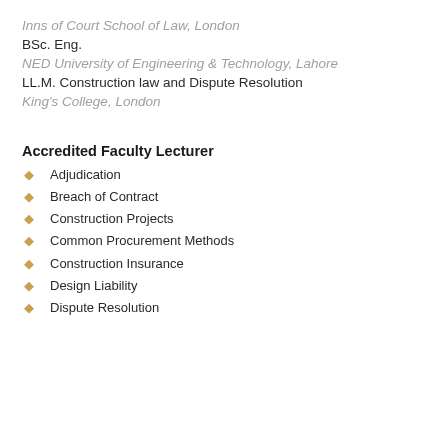Inns of Court School of Law, London
BSc. Eng.
NED University of Engineering & Technology, Lahore
LL.M. Construction law and Dispute Resolution
King's College, London
Accredited Faculty Lecturer
Adjudication
Breach of Contract
Construction Projects
Common Procurement Methods
Construction Insurance
Design Liability
Dispute Resolution